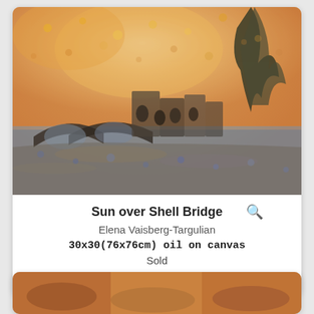[Figure (photo): Impressionist oil painting of a stone bridge over water with warm orange and yellow sky, buildings in the background, trees on the right. Artwork titled 'Sun over Shell Bridge' by Elena Vaisberg-Targulian.]
Sun over Shell Bridge
Elena Vaisberg-Targulian
30x30(76x76cm) oil on canvas
Sold
Posted 9.8 years ago
[Figure (photo): Partial view of another impressionist painting at the bottom of the page, cropped.]